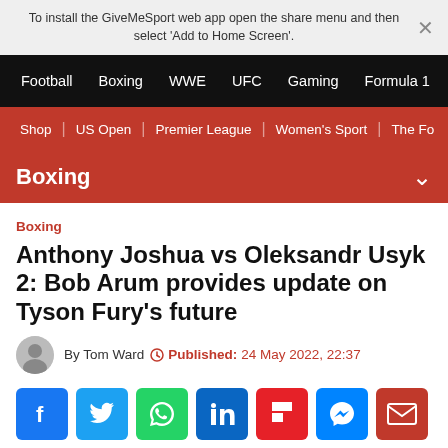To install the GiveMeSport web app open the share menu and then select 'Add to Home Screen'.
Football  Boxing  WWE  UFC  Gaming  Formula 1
Shop  US Open  Premier League  Women's Sport  The Fo
Boxing
Boxing
Anthony Joshua vs Oleksandr Usyk 2: Bob Arum provides update on Tyson Fury's future
By Tom Ward  Published: 24 May 2022, 22:37